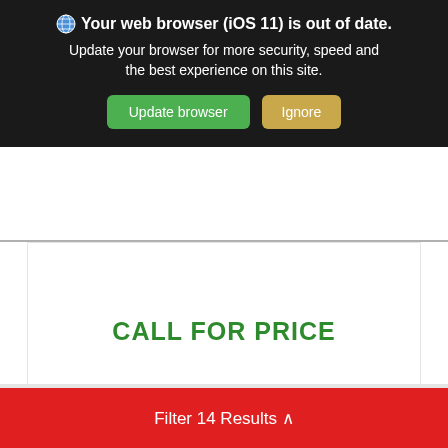[Figure (screenshot): Browser update warning banner with dark background. Shows globe icon and bold text 'Your web browser (iOS 11) is out of date.' with subtitle 'Update your browser for more security, speed and the best experience on this site.' and two buttons: green 'Update browser' and tan 'Ignore'.]
CALL FOR PRICE
Check Availability
Build My Deal Online!
Filter 14 Results ^